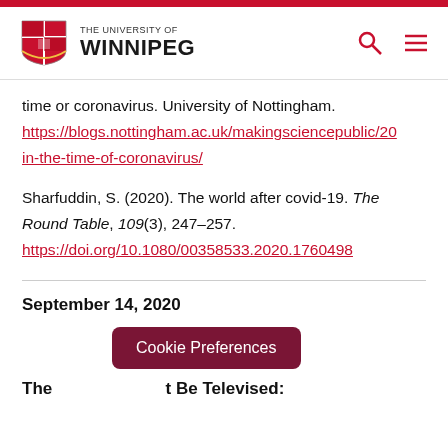[Figure (logo): University of Winnipeg logo with crest and text]
time or coronavirus. University of Nottingham.
https://blogs.nottingham.ac.uk/makingsciencepublic/20
in-the-time-of-coronavirus/
Sharfuddin, S. (2020). The world after covid-19. The Round Table, 109(3), 247–257.
https://doi.org/10.1080/00358533.2020.1760498
September 14, 2020
Cookie Preferences
The                        t Be Televised: